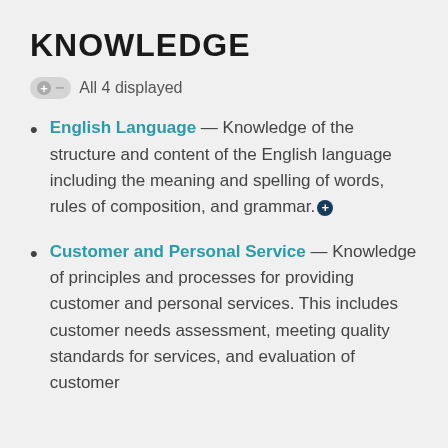KNOWLEDGE
All 4 displayed
English Language — Knowledge of the structure and content of the English language including the meaning and spelling of words, rules of composition, and grammar.
Customer and Personal Service — Knowledge of principles and processes for providing customer and personal services. This includes customer needs assessment, meeting quality standards for services, and evaluation of customer